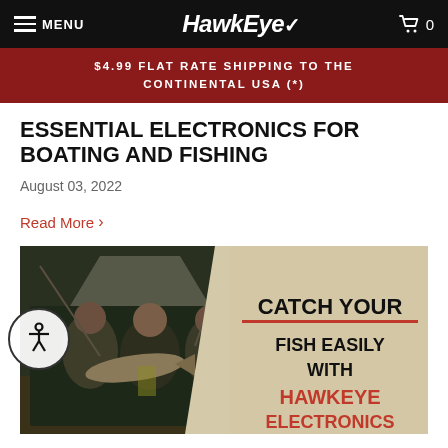MENU | HawkEye | 0
$4.99 FLAT RATE SHIPPING TO THE CONTINENTAL USA (*)
ESSENTIAL ELECTRONICS FOR BOATING AND FISHING
August 03, 2022
Read More >
[Figure (photo): Promotional banner showing three men holding a large fish outside a tent, with text: CATCH YOUR FISH EASILY WITH HAWKEYE ELECTRONICS]